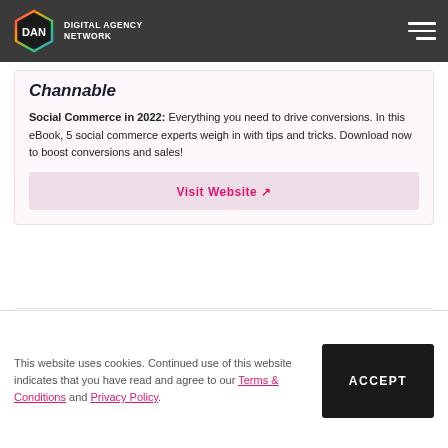DIGITAL AGENCY NETWORK
Channable
Social Commerce in 2022: Everything you need to drive conversions. In this eBook, 5 social commerce experts weigh in with tips and tricks. Download now to boost conversions and sales!
Visit Website ↗
BLOG | Digital Marketing
Inspiring Referral Marketing Examples to
This website uses cookies. Continued use of this website indicates that you have read and agree to our Terms & Conditions and Privacy Policy.